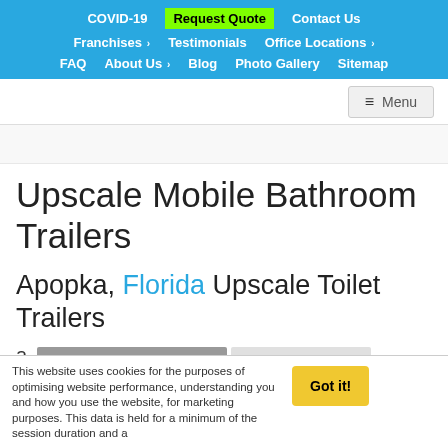COVID-19 | Request Quote | Contact Us | Franchises | Testimonials | Office Locations | FAQ | About Us | Blog | Photo Gallery | Sitemap
≡ Menu
Upscale Mobile Bathroom Trailers
Apopka, Florida Upscale Toilet Trailers
This website uses cookies for the purposes of optimising website performance, understanding you and how you use the website, for marketing purposes. This data is held for a minimum of the session duration and a
Got it!